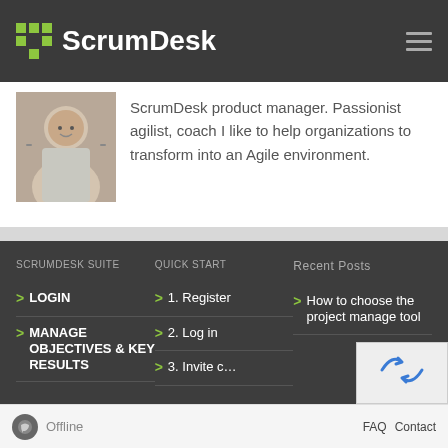ScrumDesk
ScrumDesk product manager. Passionist agilist, coach I like to help organizations to transform into an Agile environment.
SCRUMDESK SUITE
QUICK START
Recent Posts
> LOGIN
> MANAGE OBJECTIVES & KEY RESULTS
> 1. Register
> 2. Log in
> 3. Invite c…
> How to choose the project manage tool
Offline
FAQ  Contact